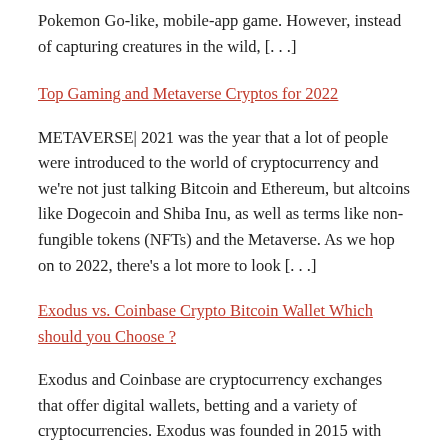Pokemon Go-like, mobile-app game. However, instead of capturing creatures in the wild, [...]
Top Gaming and Metaverse Cryptos for 2022
METAVERSE| 2021 was the year that a lot of people were introduced to the world of cryptocurrency and we're not just talking Bitcoin and Ethereum, but altcoins like Dogecoin and Shiba Inu, as well as terms like non-fungible tokens (NFTs) and the Metaverse. As we hop on to 2022, there's a lot more to look [...]
Exodus vs. Coinbase Crypto Bitcoin Wallet Which should you Choose?
Exodus and Coinbase are cryptocurrency exchanges that offer digital wallets, betting and a variety of cryptocurrencies. Exodus was founded in 2015 with headquarters in Nebraska, and the U.S.